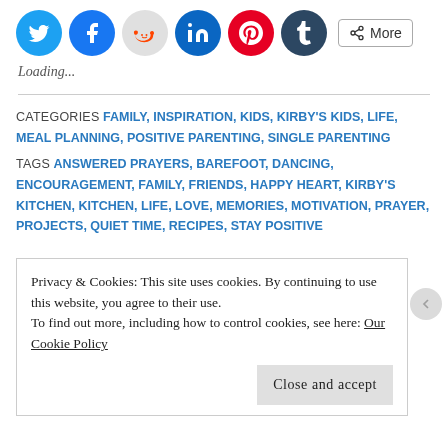[Figure (other): Social share buttons: Twitter (blue circle), Facebook (blue circle), Reddit (light grey circle), LinkedIn (dark blue circle), Pinterest (red circle), Tumblr (dark navy circle), and a 'More' button with share icon]
Loading...
CATEGORIES FAMILY, INSPIRATION, KIDS, KIRBY'S KIDS, LIFE, MEAL PLANNING, POSITIVE PARENTING, SINGLE PARENTING
TAGS ANSWERED PRAYERS, BAREFOOT, DANCING, ENCOURAGEMENT, FAMILY, FRIENDS, HAPPY HEART, KIRBY'S KITCHEN, KITCHEN, LIFE, LOVE, MEMORIES, MOTIVATION, PRAYER, PROJECTS, QUIET TIME, RECIPES, STAY POSITIVE
Privacy & Cookies: This site uses cookies. By continuing to use this website, you agree to their use.
To find out more, including how to control cookies, see here: Our Cookie Policy
Close and accept